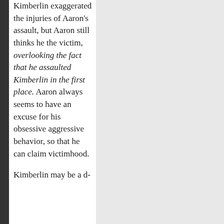Kimberlin exaggerated the injuries of Aaron's assault, but Aaron still thinks he the victim, overlooking the fact that he assaulted Kimberlin in the first place. Aaron always seems to have an excuse for his obsessive aggressive behavior, so that he can claim victimhood.
Kimberlin may be a d-